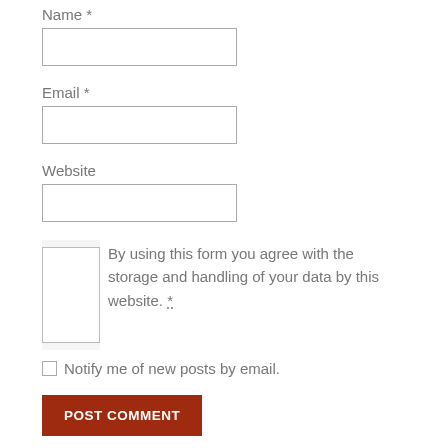Name *
[Name input field]
Email *
[Email input field]
Website
[Website input field]
By using this form you agree with the storage and handling of your data by this website. *
Notify me of new posts by email.
POST COMMENT